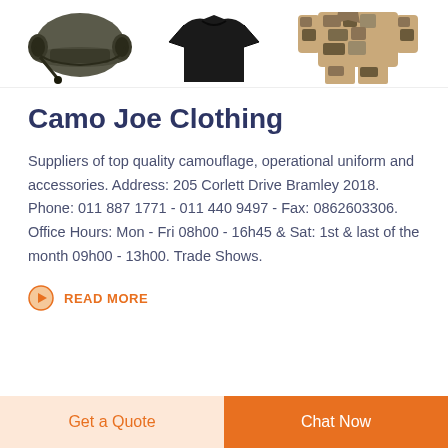[Figure (photo): Three product images: military helmet with headset, black t-shirt, and desert camouflage uniform set]
Camo Joe Clothing
Suppliers of top quality camouflage, operational uniform and accessories. Address: 205 Corlett Drive Bramley 2018. Phone: 011 887 1771 - 011 440 9497 - Fax: 0862603306. Office Hours: Mon - Fri 08h00 - 16h45 & Sat: 1st & last of the month 09h00 - 13h00. Trade Shows.
READ MORE